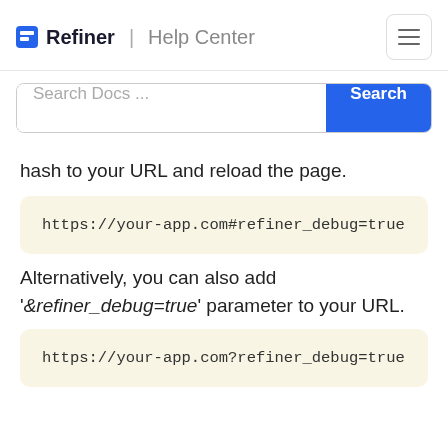Refiner | Help Center
hash to your URL and reload the page.
https://your-app.com#refiner_debug=true
Alternatively, you can also add '‘&refiner_debug=true’' parameter to your URL.
https://your-app.com?refiner_debug=true